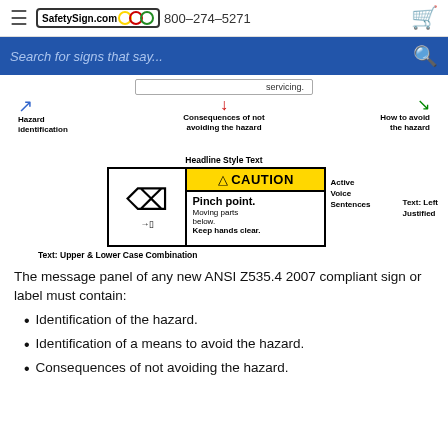SafetySign.com  800-274-5271
[Figure (infographic): Diagram showing parts of a safety sign: hazard identification (blue arrow left), consequences of not avoiding the hazard (red arrow center), how to avoid the hazard (green arrow right), pointing to a sign with 'servicing.' text.]
[Figure (infographic): Annotated CAUTION sign: Headline Style Text (top), Active Voice Sentences (right), Text: Left Justified (lower right), Text: Upper & Lower Case Combination (bottom). Sign shows hand pinch hazard with 'Pinch point. Moving parts below. Keep hands clear.']
The message panel of any new ANSI Z535.4 2007 compliant sign or label must contain:
Identification of the hazard.
Identification of a means to avoid the hazard.
Consequences of not avoiding the hazard.